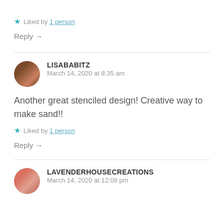★ Liked by 1 person
Reply →
LISABABITZ
March 14, 2020 at 8:35 am
Another great stenciled design! Creative way to make sand!!
★ Liked by 1 person
Reply →
LAVENDERHOUSECREATIONS
March 14, 2020 at 12:08 pm